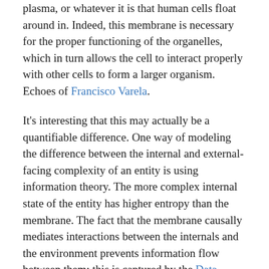plasma, or whatever it is that human cells float around in. Indeed, this membrane is necessary for the proper functioning of the organelles, which in turn allows the cell to interact properly with other cells to form a larger organism. Echoes of Francisco Varela.
It's interesting that this may actually be a quantifiable difference. One way of modeling the difference between the internal and external-facing complexity of an entity is using information theory. The more complex internal state of the entity has higher entropy than the membrane. The fact that the membrane causally mediates interactions between the internals and the environment prevents information flow between them; this is captured by the Data Processing Inequality. The lack of information flow between the system internals and externals is quantified as lower mutual information between the two domains. At